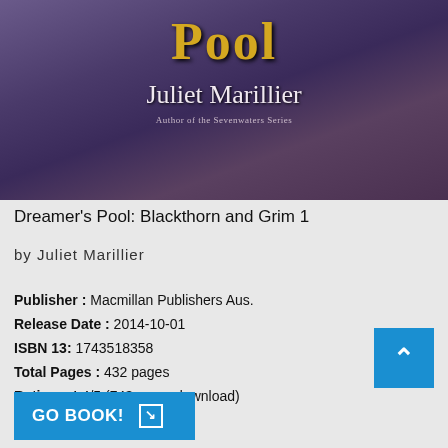[Figure (illustration): Book cover of Dreamer's Pool by Juliet Marillier showing fantasy art with purple/blue tones, golden title text 'POOL' visible, author name 'Juliet Marillier' in white serif font, subtitle 'Author of the Sevenwaters Series']
Dreamer's Pool: Blackthorn and Grim 1
by Juliet Marillier
Publisher : Macmillan Publishers Aus.
Release Date : 2014-10-01
ISBN 13: 1743518358
Total Pages : 432 pages
Rating : 4.4/5 (743 users download)
GO BOOK!